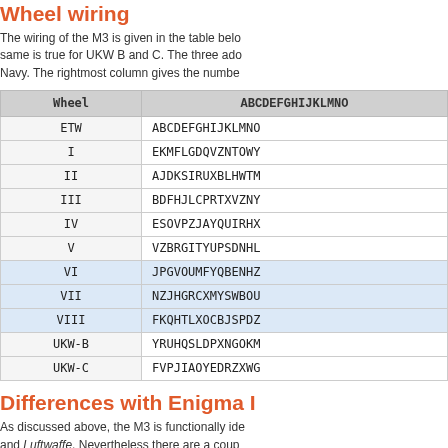Wheel wiring
The wiring of the M3 is given in the table below. The same is true for UKW B and C. The three additional wheels were used by the Navy. The rightmost column gives the number...
| Wheel | ABCDEFGHIJKLMNO... |
| --- | --- |
| ETW | ABCDEFGHIJKLMNO... |
| I | EKMFLGDQVZNTOWY... |
| II | AJDKSIRUXBLHWTM... |
| III | BDFHJLCPRTXVZNY... |
| IV | ESOVPZJAYQUIRHX... |
| V | VZBRGITYUPSDNHL... |
| VI | JPGVOUMFYQBENHZ... |
| VII | NZJHGRCXMYSWBOU... |
| VIII | FKQHTLXOCBJSPDZ... |
| UKW-B | YRUHQSLDPXNGOKM... |
| UKW-C | FVPJIAOYEDRZXWG... |
Differences with Enigma I
As discussed above, the M3 is functionally identical to the Enigma I used by the Wehrmacht and Luftwaffe. Nevertheless there are a couple of differences specific to the Kriegsmarine machines. So far, the following...